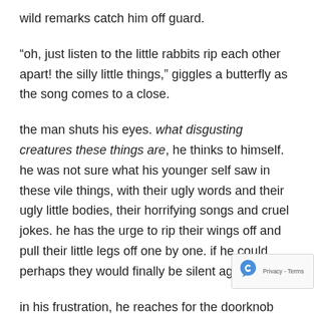wild remarks catch him off guard.
“oh, just listen to the little rabbits rip each other apart! the silly little things,” giggles a butterfly as the song comes to a close.
the man shuts his eyes. what disgusting creatures these things are, he thinks to himself. he was not sure what his younger self saw in these vile things, with their ugly words and their ugly little bodies, their horrifying songs and cruel jokes. he has the urge to rip their wings off and pull their little legs off one by one. if he could, perhaps they would finally be silent again.
in his frustration, he reaches for the doorknob beside him, but as his fingers close around the cool meta